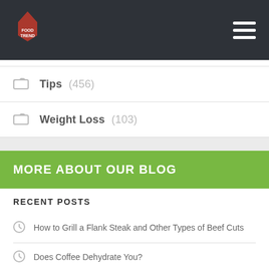FoodTrend logo and navigation header
Tips (456)
Weight Loss (103)
MORE ABOUT OUR BLOG
RECENT POSTS
How to Grill a Flank Steak and Other Types of Beef Cuts
Does Coffee Dehydrate You?
Benefits of almonds